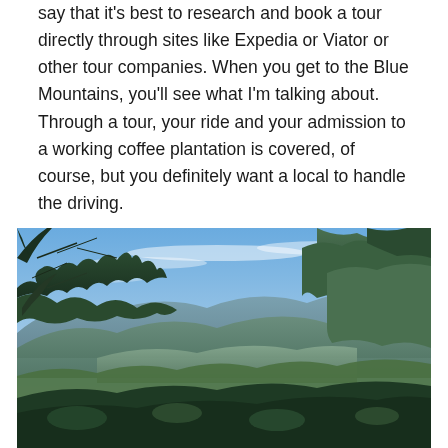say that it's best to research and book a tour directly through sites like Expedia or Viator or other tour companies. When you get to the Blue Mountains, you'll see what I'm talking about. Through a tour, your ride and your admission to a working coffee plantation is covered, of course, but you definitely want a local to handle the driving.
[Figure (photo): Scenic view from the Blue Mountains in Jamaica, showing lush green tropical trees and vegetation in the foreground and middle ground, with rolling mountain ranges and a valley visible in the background under a blue sky with light wispy clouds.]